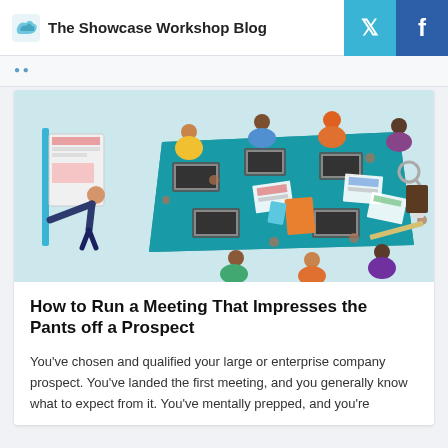The Showcase Workshop Blog
[Figure (illustration): Top-down view illustration of a business meeting around a teal conference table, with multiple people working on laptops, papers, and phones. One person stands at a presentation board on the left.]
How to Run a Meeting That Impresses the Pants off a Prospect
You've chosen and qualified your large or enterprise company prospect. You've landed the first meeting, and you generally know what to expect from it. You've mentally prepped, and you're...